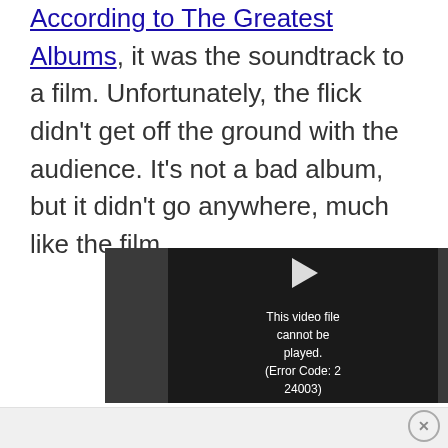According to The Greatest Albums, it was the soundtrack to a film. Unfortunately, the flick didn't get off the ground with the audience. It's not a bad album, but it didn't go anywhere, much like the film.
[Figure (screenshot): A video player showing an error message: 'This video file cannot be played. (Error Code: 2 24003)' with a play button icon above the text, on a dark background.]